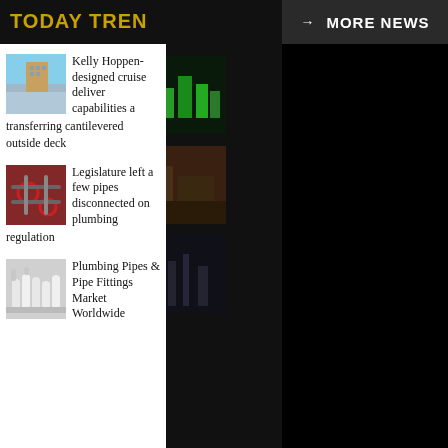TODAY TREN
→ MORE NEWS
[Figure (photo): Cityscape illustration with green buildings on black background]
[Figure (photo): Residential building exterior photo]
[Figure (photo): Person walking in foggy cityscape]
cement
CopyRights © 2
Home   Disclaim
Terms And Cond
[Figure (photo): Kelly Hoppen-designed cruise ship with cantilevered deck]
Kelly Hoppen-designed cruise deliver capabilities a transferring cantilevered outside deck
[Figure (photo): Industrial pipes with red valves on brick wall]
Legislature left a few pipes disconnected on plumbing regulation
[Figure (photo): Plumbing pipes and pipe fittings]
Plumbing Pipes & Pipe Fittings Market Worldwide